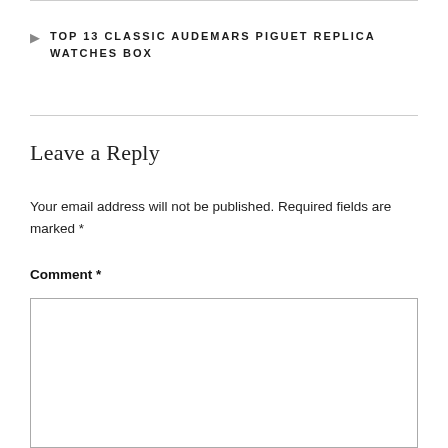TOP 13 CLASSIC AUDEMARS PIGUET REPLICA WATCHES BOX
Leave a Reply
Your email address will not be published. Required fields are marked *
Comment *